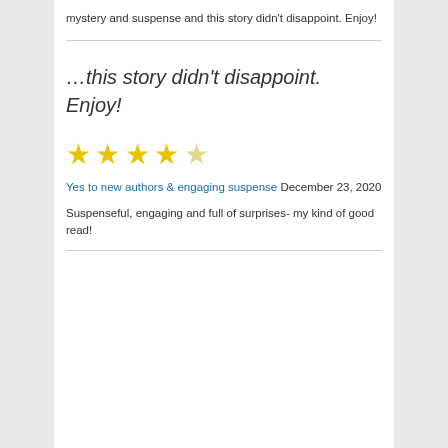mystery and suspense and this story didn't disappoint. Enjoy!
…this story didn't disappoint. Enjoy!
[Figure (other): 4 out of 5 stars rating displayed as yellow star icons]
Yes to new authors & engaging suspense December 23, 2020
Suspenseful, engaging and full of surprises- my kind of good read!